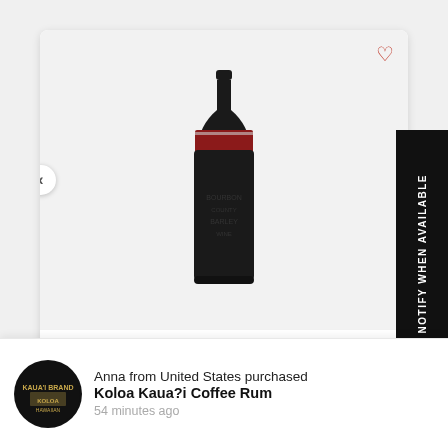[Figure (photo): Dark glass bottle of Goose Island Bourbon County Barleywine with a black body and red label on a light gray background]
Goose Island Bourbon County Barleywine ...
$22.99
Firestone
$16.99
NOTIFY WHEN AVAILABLE
Anna from United States purchased
Koloa Kaua?i Coffee Rum
54 minutes ago